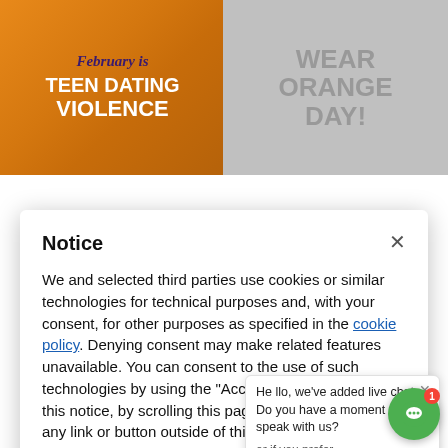[Figure (illustration): Banner image showing 'February is Teen Dating Violence Awareness' on orange background on left, and 'Wear Orange Day' on right side with purple figure]
Notice
We and selected third parties use cookies or similar technologies for technical purposes and, with your consent, for other purposes as specified in the cookie policy. Denying consent may make related features unavailable. You can consent to the use of such technologies by using the "Accept" button, by closing this notice, by scrolling this page, by interacting with any link or button outside of this notice or by continuing to browse otherwise.
Accept
Learn more and customize
Hello, we've added live chat. Do you have a moment to speak with us?
or if you prefer,
Type
[Figure (illustration): Green circular chat button with red notification badge showing 1]